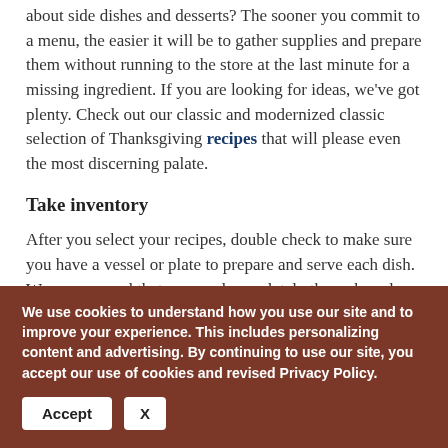about side dishes and desserts? The sooner you commit to a menu, the easier it will be to gather supplies and prepare them without running to the store at the last minute for a missing ingredient. If you are looking for ideas, we've got plenty. Check out our classic and modernized classic selection of Thanksgiving recipes that will please even the most discerning palate.
Take inventory
After you select your recipes, double check to make sure you have a vessel or plate to prepare and serve each dish. We recommend that you read completely through each recipe and write down needed ingredients and the planned serving dish. Many dishes and utensils are non-
We use cookies to understand how you use our site and to improve your experience. This includes personalizing content and advertising. By continuing to use our site, you accept our use of cookies and revised Privacy Policy.